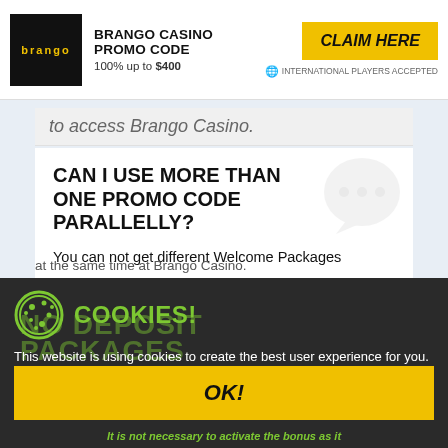BRANGO CASINO PROMO CODE | 100% up to $400 | CLAIM HERE | INTERNATIONAL PLAYERS ACCEPTED
to access Brango Casino.
CAN I USE MORE THAN ONE PROMO CODE PARALLELLY?
You can not get different Welcome Packages at the same time at Brango Casino.
COOKIES!
This website is using cookies to create the best user experience for you. Once you are using our website, you are giving consent to the usage of those cookies.
OK!
It is not necessary to activate the bonus as it